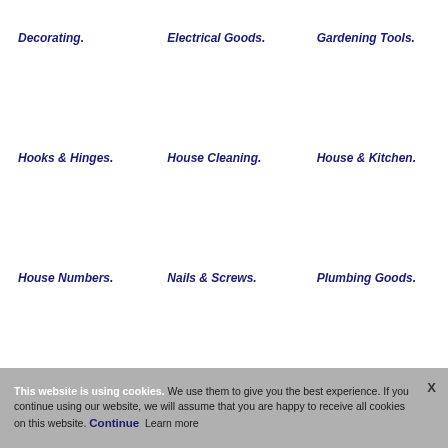Decorating.
Electrical Goods.
Gardening Tools.
Hooks & Hinges.
House Cleaning.
House & Kitchen.
House Numbers.
Nails & Screws.
Plumbing Goods.
This website is using cookies. We use them to give you the best experience. If you continue using our website, we will assume that you are happy to receive all cookies on this website. Continue  Learn more